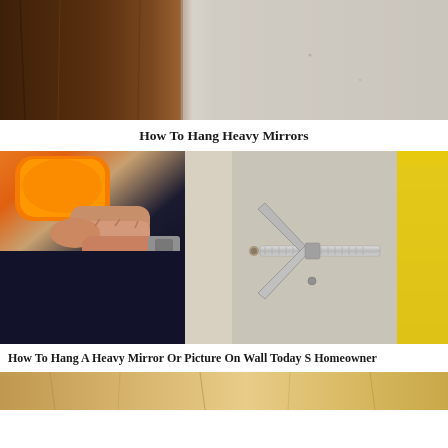[Figure (photo): Close-up photo of dark wood panel next to a light grey painted wall surface, cropped at top]
How To Hang Heavy Mirrors
[Figure (photo): Left side: hand holding orange screwdriver/driver tool working on a bolt through a surface. Right side: close-up of a toggle bolt/butterfly anchor hardware against a light wall with yellow stripe visible at top right.]
How To Hang A Heavy Mirror Or Picture On Wall Today S Homeowner
[Figure (photo): Partial view of wooden construction material or lumber, bottom strip of image]